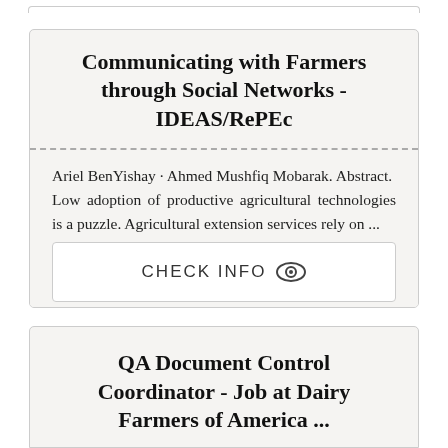Communicating with Farmers through Social Networks - IDEAS/RePEc
Ariel BenYishay · Ahmed Mushfiq Mobarak. Abstract. Low adoption of productive agricultural technologies is a puzzle. Agricultural extension services rely on ...
CHECK INFO
QA Document Control Coordinator - Job at Dairy Farmers of America ...